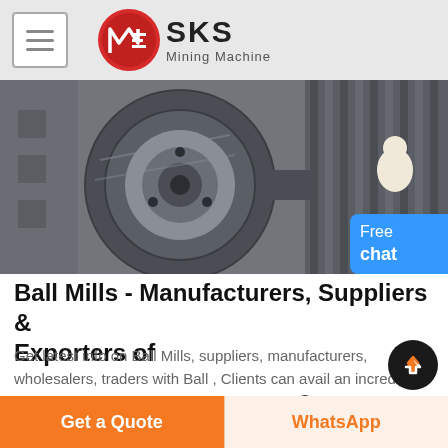SKS Mining Machine
[Figure (photo): Close-up photo of industrial ball mill machinery showing large metal pulley/wheel with ribbed belt drive system, grey metal components]
Ball Mills - Manufacturers, Suppliers & Exporters of
Get latest info on Ball Mills, suppliers, manufacturers, wholesalers, traders with Ball , Clients can avail an incredible range of ball mill at cost-effective pric , A Lead Oxide Ball Mill, or Grey Oxide Plant (as it is generally